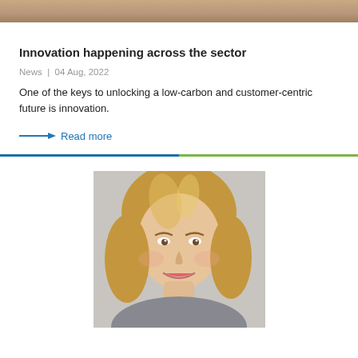[Figure (photo): Cropped top portion of a photo showing people in a warm-toned interior setting]
Innovation happening across the sector
News | 04 Aug, 2022
One of the keys to unlocking a low-carbon and customer-centric future is innovation.
→ Read more
[Figure (photo): Portrait photograph of a smiling woman with blonde wavy hair, wearing a light-colored top, against a light grey background]